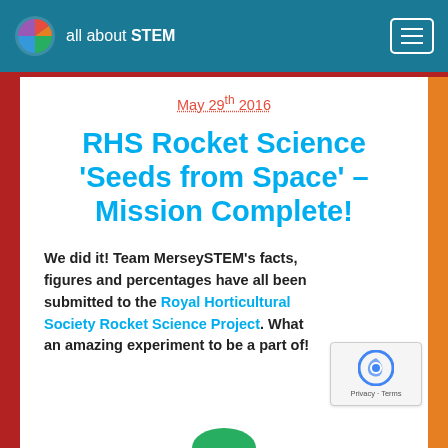all about STEM
May 29th 2016
RHS Rocket Science 'Seeds from Space' – Mission Complete!
We did it! Team MerseySTEM's facts, figures and percentages have all been submitted to the Royal Horticultural Society Rocket Science Project. What an amazing experiment to be a part of!